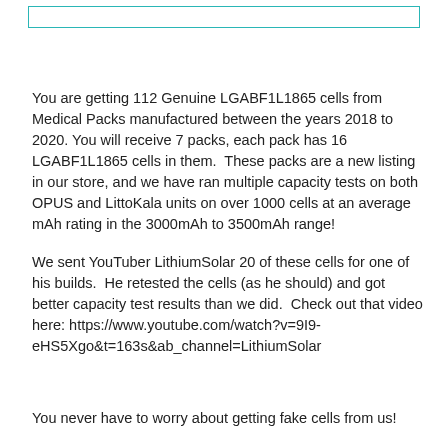[Figure (other): Teal/cyan outlined empty rectangle at top of page]
You are getting 112 Genuine LGABF1L1865 cells from Medical Packs manufactured between the years 2018 to 2020. You will receive 7 packs, each pack has 16 LGABF1L1865 cells in them. These packs are a new listing in our store, and we have ran multiple capacity tests on both OPUS and LittoKala units on over 1000 cells at an average mAh rating in the 3000mAh to 3500mAh range!
We sent YouTuber LithiumSolar 20 of these cells for one of his builds. He retested the cells (as he should) and got better capacity test results than we did. Check out that video here: https://www.youtube.com/watch?v=9I9-eHS5Xgo&t=163s&ab_channel=LithiumSolar
You never have to worry about getting fake cells from us!